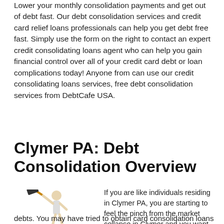Lower your monthly consolidation payments and get out of debt fast. Our debt consolidation services and credit card relief loans professionals can help you get debt free fast. Simply use the form on the right to contact an expert credit consolidating loans agent who can help you gain financial control over all of your credit card debt or loan complications today! Anyone from can use our credit consolidating loans services, free debt consolidation services from DebtCafe USA.
Clymer PA: Debt Consolidation Overview
[Figure (illustration): A cartoon figure holding a large hammer over the word DEBT in bold blue letters]
If you are like individuals residing in Clymer PA, you are starting to feel the pinch from the market collapse in Clymer and you want to know how you can save on interest charges with debt consolidation in Clymer and get out of debts. You may have tried to obtain card consolidation loans